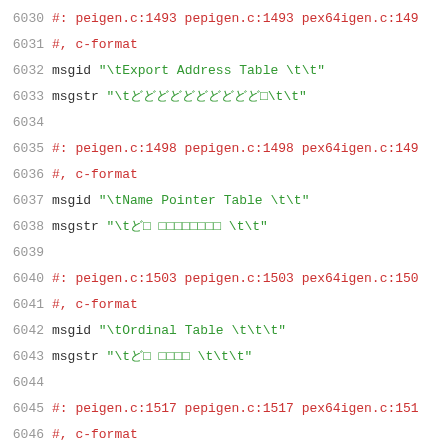6030  #: peigen.c:1493 pepigen.c:1493 pex64igen.c:149
6031  #, c-format
6032  msgid "\tExport Address Table \t\t"
6033  msgstr "\t導出アドレステーブル\t\t"
6034
6035  #: peigen.c:1498 pepigen.c:1498 pex64igen.c:149
6036  #, c-format
6037  msgid "\tName Pointer Table \t\t"
6038  msgstr "\t名前ポインタテーブル \t\t"
6039
6040  #: peigen.c:1503 pepigen.c:1503 pex64igen.c:150
6041  #, c-format
6042  msgid "\tOrdinal Table \t\t\t"
6043  msgstr "\t序数テーブル \t\t\t"
6044
6045  #: peigen.c:1517 pepigen.c:1517 pex64igen.c:151
6046  #, c-format
6047  msgid ""
6048  "\n"
6049  "Export Address Table -- Ordinal Base %ld\n"
6050  msgstr ""